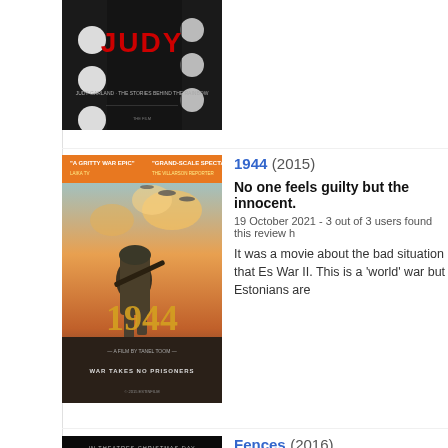[Figure (photo): Cropped movie poster for 'Judy' - dark background with red stylized JUDY text and polka dot costume visible]
[Figure (photo): Movie poster for '1944' (2015) - war film showing soldier with rifle against explosive sky background, text 'A GRITTY WAR EPIC' 'GRAND-SCALE SPECTACLE', '1944', 'A FILM BY TANEL TOOM', 'WAR TAKES NO PRISONERS']
1944 (2015)
No one feels guilty but the innocent.
19 October 2021 - 3 out of 3 users found this review h
It was a movie about the bad situation that Es War II. This is a 'world' war but Estonians are
[Figure (photo): Movie poster for 'Fences' (2016) - dark background with text 'IN THEATRES CHRISTMAS DAY', 'DENZEL VIOLA WASHINGTON DAVIS', 'FENCES']
Fences (2016)
Slice of life
17 October 2021
It was a film like a slice of life with its impecca